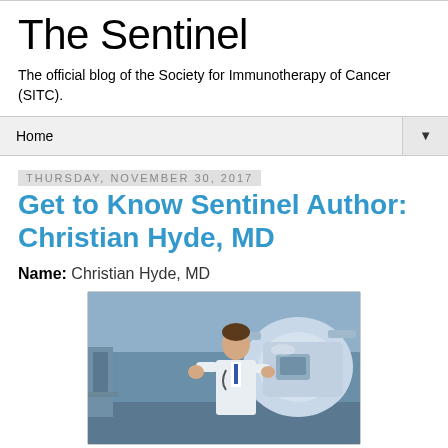The Sentinel
The official blog of the Society for Immunotherapy of Cancer (SITC).
Home
Thursday, November 30, 2017
Get to Know Sentinel Author: Christian Hyde, MD
Name: Christian Hyde, MD
[Figure (photo): Photo of Christian Hyde, MD in a white coat standing next to a large medical imaging or radiation therapy machine in a clinical setting.]